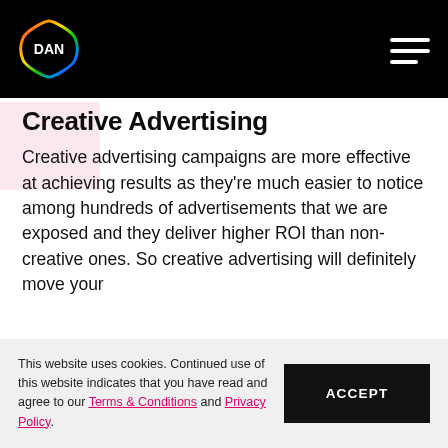DAN
with an automotive marketing agency will help you provide a valuable and positive brand experience for your target audience.
Creative Advertising
Creative advertising campaigns are more effective at achieving results as they're much easier to notice among hundreds of advertisements that we are exposed and they deliver higher ROI than non-creative ones. So creative advertising will definitely move your
This website uses cookies. Continued use of this website indicates that you have read and agree to our Terms & Conditions and Privacy Policy.